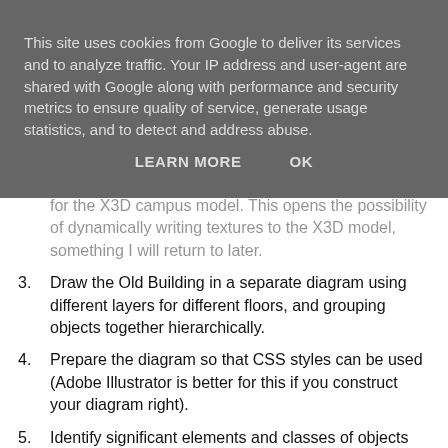This site uses cookies from Google to deliver its services and to analyze traffic. Your IP address and user-agent are shared with Google along with performance and security metrics to ensure quality of service, generate usage statistics, and to detect and address abuse.
LEARN MORE    OK
for the X3D campus model. This opens the possibility of dynamically writing textures to the X3D model, something I will return to later.
3. Draw the Old Building in a separate diagram using different layers for different floors, and grouping objects together hierarchically.
4. Prepare the diagram so that CSS styles can be used (Adobe Illustrator is better for this if you construct your diagram right).
5. Identify significant elements and classes of objects like floors and rooms (ideally using id attributes and custom classes, but use what you can and clean up after).
I have got as far as putting the Pict Harbour 2D campus map